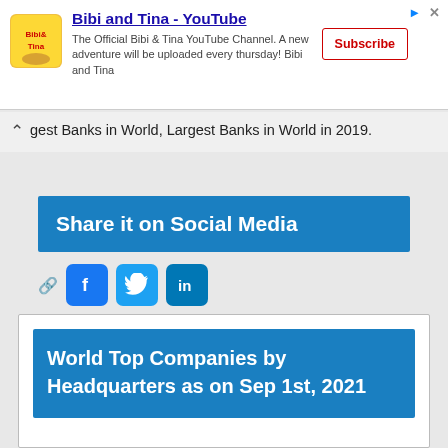[Figure (screenshot): Ad banner for Bibi and Tina YouTube channel with logo, description text, and Subscribe button]
gest Banks in World, Largest Banks in World in 2019.
Share it on Social Media
[Figure (infographic): Social media share icons: link, Facebook, Twitter, LinkedIn]
World Top Companies by Headquarters as on Sep 1st, 2021